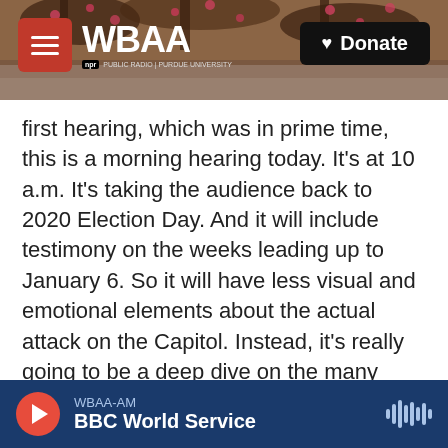[Figure (screenshot): WBAA NPR radio website header banner with tree/nature background photo, red hamburger menu button, WBAA logo in white, and black Donate button with heart icon]
first hearing, which was in prime time, this is a morning hearing today. It's at 10 a.m. It's taking the audience back to 2020 Election Day. And it will include testimony on the weeks leading up to January 6. So it will have less visual and emotional elements about the actual attack on the Capitol. Instead, it's really going to be a deep dive on the many people close to Trump who told him he lost, but he refused to accept that and kept pushing this misinformation.
MARTINEZ: All right. Who are we expected to hear from?
WBAA-AM  BBC World Service